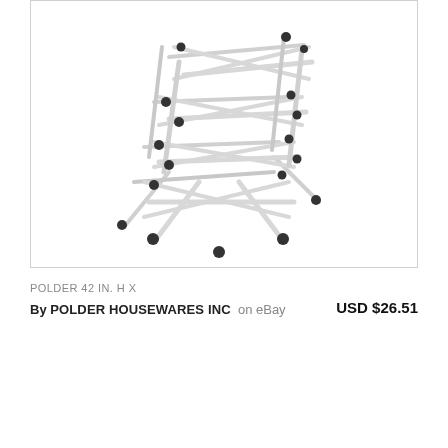[Figure (photo): A white metal folding clothes drying rack with multiple horizontal bars and X-frame legs, shown on a white background. The rack has black plastic connectors/joints at the intersections of the bars.]
POLDER 42 IN. H X
By POLDER HOUSEWARES INC  on eBay    USD $26.51